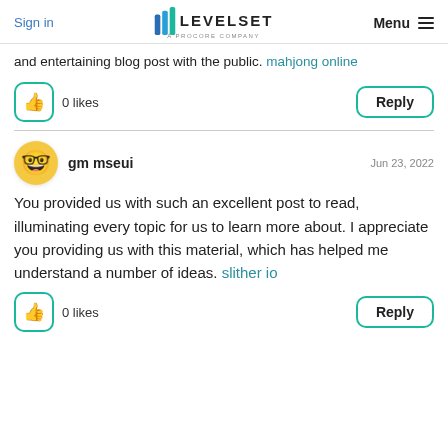Sign in | LEVELSET A PROCORE COMPANY | Menu
and entertaining blog post with the public. mahjong online
0 likes
Reply
gm mseui · Jun 23, 2022
You provided us with such an excellent post to read, illuminating every topic for us to learn more about. I appreciate you providing us with this material, which has helped me understand a number of ideas. slither io
0 likes
Reply